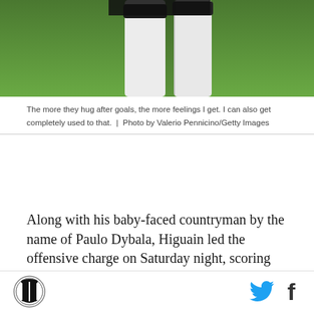[Figure (photo): Soccer player legs in white socks and black shin guard bands on a green grass field background]
The more they hug after goals, the more feelings I get. I can also get completely used to that.  |  Photo by Valerio Pennicino/Getty Images
Along with his baby-faced countryman by the name of Paulo Dybala, Higuain led the offensive charge on Saturday night, scoring his second brace in the matter of four days — the other came in Wednesday night's Coppa Italia game against Napoli, of course — as Juventus beat Chievo 2-0 to go into their titanic matchup with Barcelona with some wind in their sails. It wasn't a drab, energy-conserving performance that we
[Figure (logo): Circular Juventus-style logo in bottom left corner]
[Figure (logo): Twitter bird icon]
[Figure (logo): Facebook f icon]